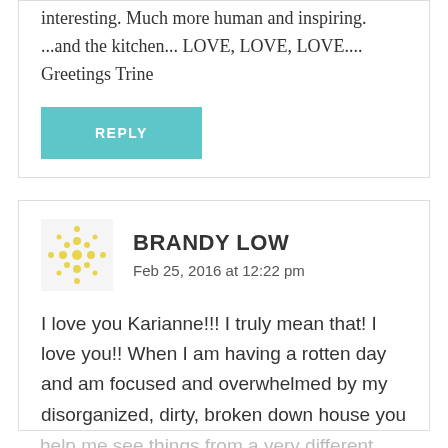interesting. Much more human and inspiring. ...and the kitchen... LOVE, LOVE, LOVE.... Greetings Trine
REPLY
BRANDY LOW
Feb 25, 2016 at 12:22 pm
I love you Karianne!!! I truly mean that! I love you!! When I am having a rotten day and am focused and overwhelmed by my disorganized, dirty, broken down house you
help me see things from a very different perspective and it changes my whole day